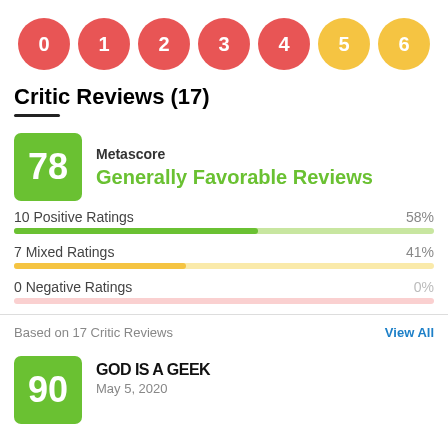[Figure (infographic): Row of 7 numbered score circles: 0-4 in red, 5-6 in yellow]
Critic Reviews (17)
[Figure (infographic): Metascore box showing 78 in green with label 'Metascore' and 'Generally Favorable Reviews']
10 Positive Ratings 58%
7 Mixed Ratings 41%
0 Negative Ratings 0%
Based on 17 Critic Reviews
View All
[Figure (infographic): Review score box 90 in green for GOD IS A GEEK, May 5, 2020]